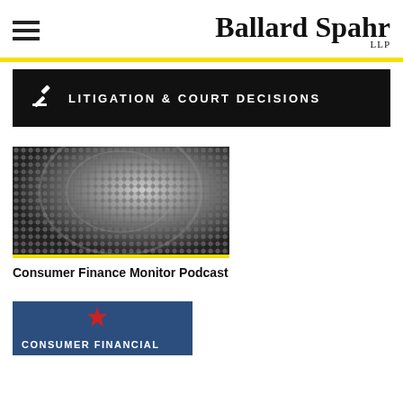Ballard Spahr LLP
LITIGATION & COURT DECISIONS
[Figure (photo): Close-up black and white photo of a microphone mesh/grille]
Consumer Finance Monitor Podcast
[Figure (photo): Partially visible image with dark blue background and text reading CONSUMER FINANCIAL]